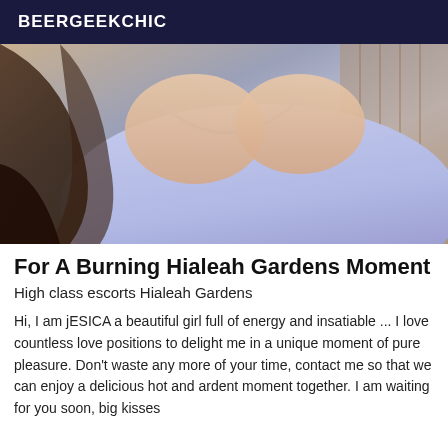BEERGEEKCHIC
[Figure (photo): Close-up photo of a woman with long dark hair wearing a light purple/lavender tank top]
For A Burning Hialeah Gardens Moment
High class escorts Hialeah Gardens
Hi, I am jESICA a beautiful girl full of energy and insatiable ... I love countless love positions to delight me in a unique moment of pure pleasure. Don't waste any more of your time, contact me so that we can enjoy a delicious hot and ardent moment together. I am waiting for you soon, big kisses